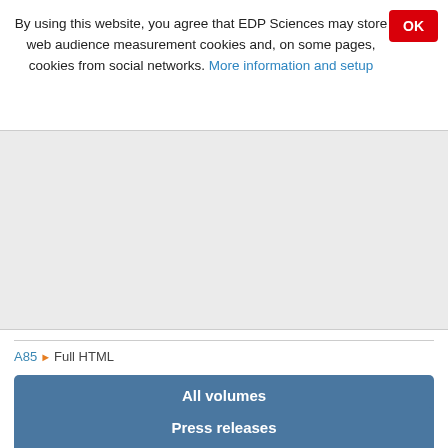By using this website, you agree that EDP Sciences may store web audience measurement cookies and, on some pages, cookies from social networks. More information and setup
A85 ▶ Full HTML
All volumes
Special issues
Forthcoming articles
Press releases